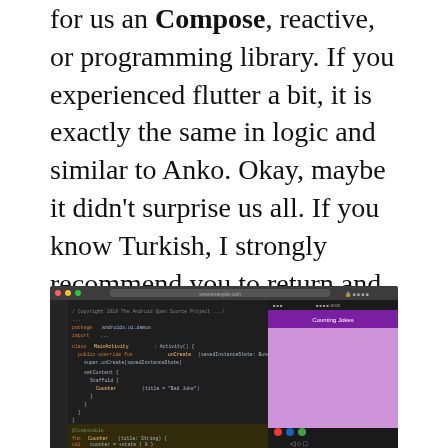for us an Compose, reactive, or programming library. If you experienced flutter a bit, it is exactly the same in logic and similar to Anko. Okay, maybe it didn't surprise us all. If you know Turkish, I strongly recommend you to return and listen to their podcasts. Aside from the fact that they are making Android podcasts like a radio program, if you listen to 5th podcast you will find that it is not too surprising for them.
[Figure (screenshot): Screenshot of Android Studio IDE showing Kotlin/Jetpack Compose code on the left pane with a running Android emulator on the right showing a pink/purple screen with 'Counting Jokes' text]